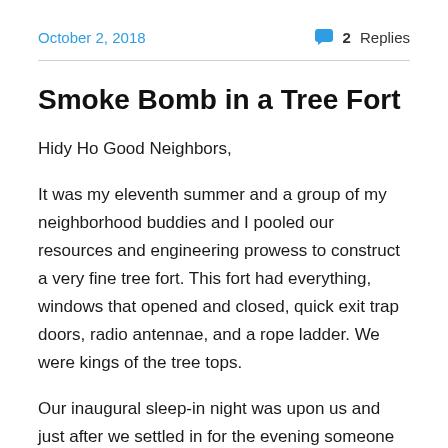October 2, 2018   💬 2 Replies
Smoke Bomb in a Tree Fort
Hidy Ho Good Neighbors,
It was my eleventh summer and a group of my neighborhood buddies and I pooled our resources and engineering prowess to construct a very fine tree fort. This fort had everything, windows that opened and closed, quick exit trap doors, radio antennae, and a rope ladder. We were kings of the tree tops.
Our inaugural sleep-in night was upon us and just after we settled in for the evening someone tossed a lit smoke-bomb into our abode. I remember clicking on my flashlight